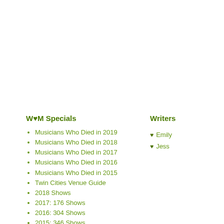W♥M Specials
Musicians Who Died in 2019
Musicians Who Died in 2018
Musicians Who Died in 2017
Musicians Who Died in 2016
Musicians Who Died in 2015
Twin Cities Venue Guide
2018 Shows
2017: 176 Shows
2016: 304 Shows
2015: 346 Shows
Rocktober 2012-2017
Writers
Emily
Jess